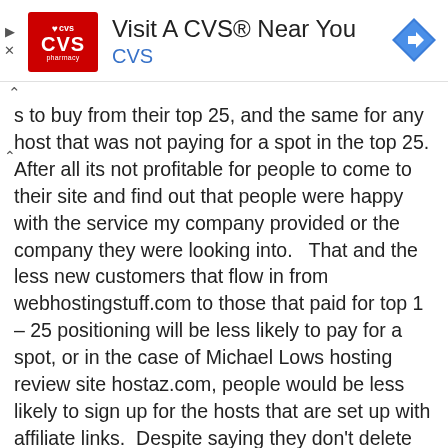[Figure (other): CVS Pharmacy advertisement banner with CVS logo (red background), text 'Visit A CVS® Near You' and 'CVS' in blue, and a blue diamond navigation icon on the right. Small play and close (X) controls on the left side.]
s to buy from their top 25, and the same for any host that was not paying for a spot in the top 25. After all its not profitable for people to come to their site and find out that people were happy with the service my company provided or the company they were looking into.   That and the less new customers that flow in from webhostingstuff.com to those that paid for top 1 – 25 positioning will be less likely to pay for a spot, or in the case of Michael Lows hosting review site hostaz.com, people would be less likely to sign up for the hosts that are set up with affiliate links.  Despite saying they don't delete feed back, they do.  They even give reasons for deleting it such as you closed your account and got a refund.  Never mind the reasons for closing your account may very well